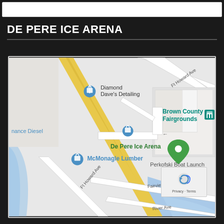DE PERE ICE ARENA
[Figure (map): Google Maps screenshot showing De Pere Ice Arena location near Ft Howard Ave, Fairview Ave, River Ave, with nearby landmarks including Diamond Dave's Detailing, Brown County Fairgrounds, McMonagle Lumber, and Perkofski Boat Launch.]